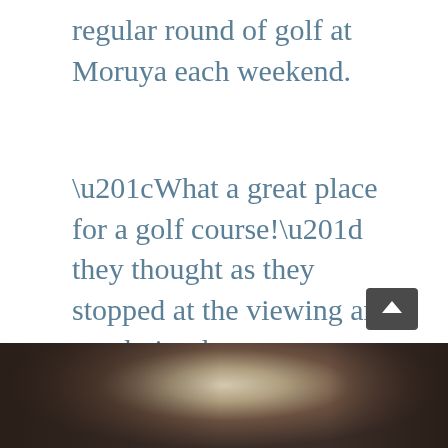regular round of golf at Moruya each weekend.
“What a great place for a golf course!” they thought as they stopped at the viewing area to admire the scenery.
[Figure (photo): A dark, blurry outdoor photograph showing trees and a bright sky/light area in the center background, likely the golf course at Moruya.]